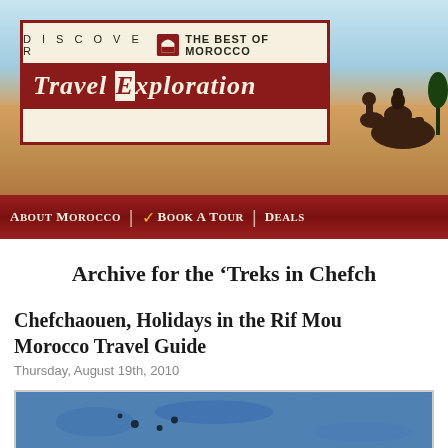[Figure (logo): Travel Exploration logo with desert background showing camel silhouette, logo box with 'DISCOVER THE BEST OF MOROCCO' and 'Travel Exploration' in red bar]
About Morocco | ✓ Book A Tour | Deals
Archive for the 'Treks in Chefch...
Chefchaouen, Holidays in the Rif Mou... Morocco Travel Guide
Thursday, August 19th, 2010
[Figure (photo): Blue wall texture photo from Chefchaouen Morocco]